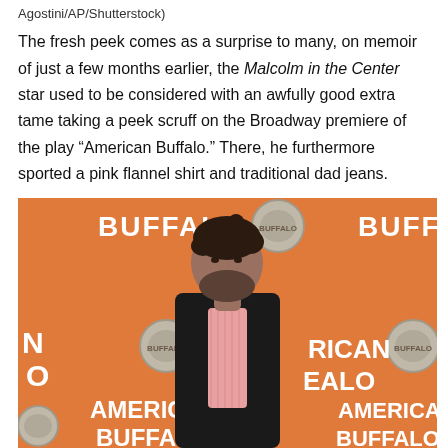Agostini/AP/Shutterstock)
The fresh peek comes as a surprise to many, on memoir of just a few months earlier, the Malcolm in the Center star used to be considered with an awfully good extra tame taking a peek scruff on the Broadway premiere of the play “American Buffalo.” There, he furthermore sported a pink flannel shirt and traditional dad jeans.
[Figure (photo): A man with curly dark hair and a beard wearing a black blazer over a pink flannel shirt, standing in front of an orange American Buffalo Broadway play step-and-repeat backdrop with buffalo coins and text.]